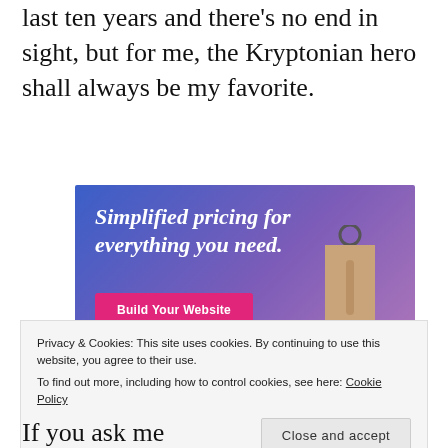last ten years and there's no end in sight, but for me, the Kryptonian hero shall always be my favorite.
[Figure (screenshot): Advertisement banner with blue-purple gradient background, text 'Simplified pricing for everything you need.' in white italic, a pink 'Build Your Website' button, and a tan price tag illustration on the right.]
Privacy & Cookies: This site uses cookies. By continuing to use this website, you agree to their use.
To find out more, including how to control cookies, see here: Cookie Policy
Close and accept
If you ask me